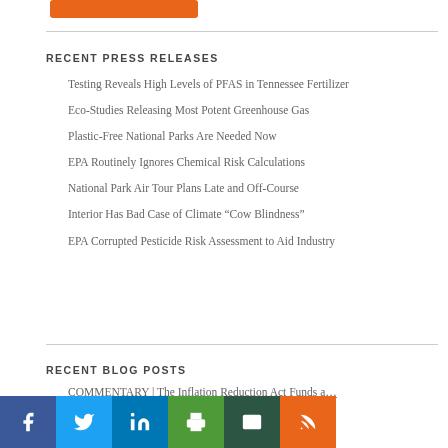[Figure (other): Orange button/banner at top]
RECENT PRESS RELEASES
Testing Reveals High Levels of PFAS in Tennessee Fertilizer
Eco-Studies Releasing Most Potent Greenhouse Gas
Plastic-Free National Parks Are Needed Now
EPA Routinely Ignores Chemical Risk Calculations
National Park Air Tour Plans Late and Off-Course
Interior Has Bad Case of Climate “Cow Blindness”
EPA Corrupted Pesticide Risk Assessment to Aid Industry
RECENT BLOG POSTS
COMMENTARY | The Inflation Reduction Act Funds a…
COMMENTARY | Building Better Climate Solutions